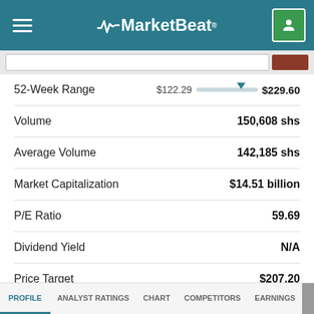MarketBeat
| Metric | Value |
| --- | --- |
| 52-Week Range | $122.29 — $229.60 |
| Volume | 150,608 shs |
| Average Volume | 142,185 shs |
| Market Capitalization | $14.51 billion |
| P/E Ratio | 59.69 |
| Dividend Yield | N/A |
| Price Target | $207.20 |
PROFILE  ANALYST RATINGS  CHART  COMPETITORS  EARNINGS  FINANCIAL